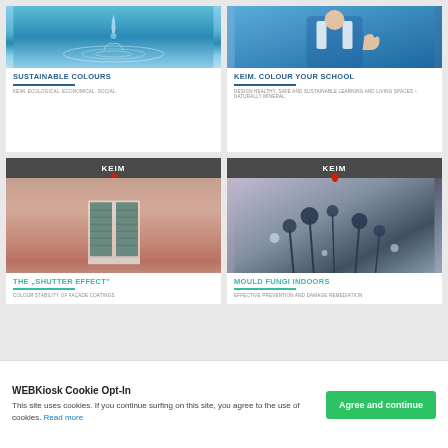[Figure (illustration): KEIM Sustainable Colours brochure cover with water droplet image]
[Figure (illustration): KEIM Colour Your School brochure cover with child in blue uniform]
[Figure (illustration): KEIM The Shutter Effect brochure cover with pink building and grey shutters]
[Figure (illustration): KEIM Mould Fungi Indoors brochure cover with macro mould photo]
WEBKiosk Cookie Opt-In
This site uses cookies. If you continue surfing on this site, you agree to the use of cookies. Read more